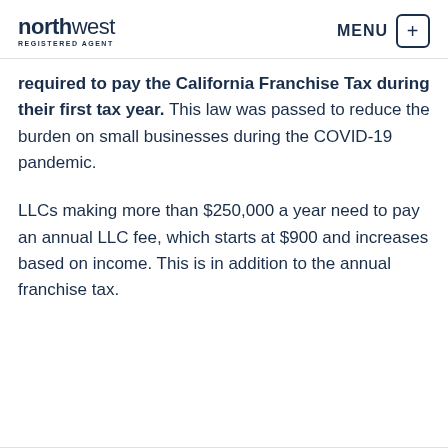northwest REGISTERED AGENT | MENU
required to pay the California Franchise Tax during their first tax year. This law was passed to reduce the burden on small businesses during the COVID-19 pandemic.
LLCs making more than $250,000 a year need to pay an annual LLC fee, which starts at $900 and increases based on income. This is in addition to the annual franchise tax.